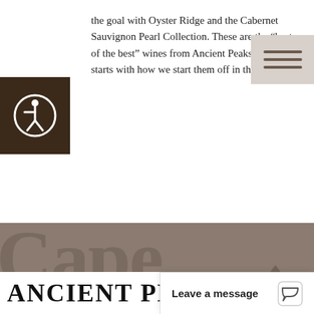the goal with Oyster Ridge and the Cabernet Sauvignon Pearl Collection. These are the “best of the best” wines from Ancient Peaks, and it all starts with how we start them off in the vineyard.
[Figure (other): Accessibility icon (person in circle) on dark brown background]
[Figure (other): Hamburger menu icon on light taupe/gray background in top right corner]
[Figure (illustration): Cape Gazette newspaper banner used as background image with mountain illustration, overlaid with Next Post label and article title text]
Next Post
CAPE GAZETTE: NAPA CANS ARE TERRIFIC
[Figure (logo): Ancient Peaks winery logo text at bottom of page, partially obscured by chat widget]
Leave a message